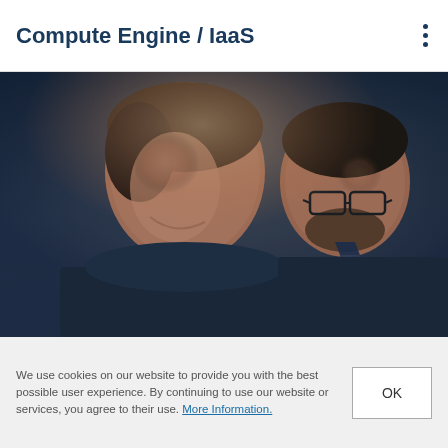Compute Engine / IaaS
[Figure (photo): Two men in business suits looking downward and smiling, photographed in a close-up with warm tones; the man on the left is younger and the man on the right wears glasses.]
We use cookies on our website to provide you with the best possible user experience. By continuing to use our website or services, you agree to their use. More Information.